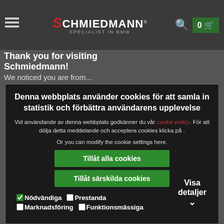Schmiedmann — specialist in BMW
Thank you for visiting Schmiedmann!
We noticed you are from...
Denna webbplats använder cookies för att samla in statistik och förbättra användarens upplevelse
Vid användande av denna webbplats godkänner du vår cookie policy. För att dölja detta meddelande och acceptera cookies klicka på .
Or you can modify the cookie settings here.
Tillåt alla cookies
Tillåt särskilda cookies
Nödvändiga  Prestanda  Marknadsföring  Funktionsmässiga  Visa detaljer